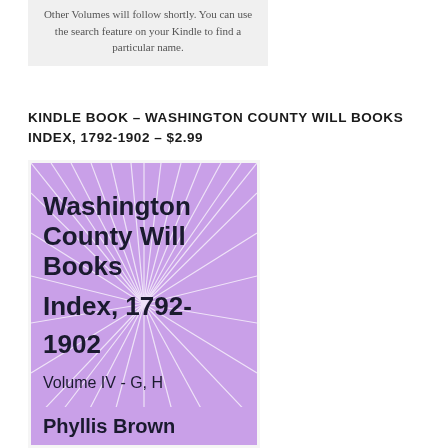Other Volumes will follow shortly. You can use the search feature on your Kindle to find a particular name.
KINDLE BOOK – WASHINGTON COUNTY WILL BOOKS INDEX, 1792-1902 – $2.99
[Figure (illustration): Book cover of 'Washington County Will Books Index, 1792-1902, Volume IV - G, H' by Phyllis Brown. Purple background with a white starburst pattern. Title text in bold dark font, with 'Phyllis Brown' as author at the bottom.]